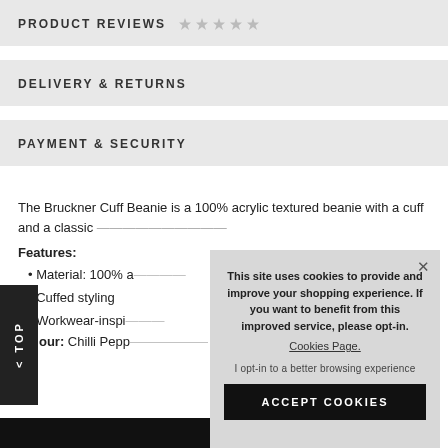PRODUCT REVIEWS
DELIVERY & RETURNS
PAYMENT & SECURITY
The Bruckner Cuff Beanie is a 100% acrylic textured beanie with a cuff and a classic…
Features:
Material: 100% a…
Cuffed styling
Workwear-inspi…
Colour: Chilli Pepp…
[Figure (screenshot): Cookie consent overlay with text: This site uses cookies to provide and improve your shopping experience. If you want to benefit from this improved service, please opt-in. Cookies Page. I opt-in to a better browsing experience. Button: ACCEPT COOKIES]